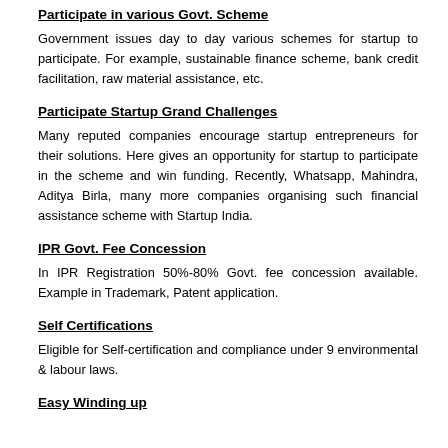this fund. Startups can apply under this quota.
Participate in various Govt. Scheme
Government issues day to day various schemes for startup to participate. For example, sustainable finance scheme, bank credit facilitation, raw material assistance, etc.
Participate Startup Grand Challenges
Many reputed companies encourage startup entrepreneurs for their solutions. Here gives an opportunity for startup to participate in the scheme and win funding. Recently, Whatsapp, Mahindra, Aditya Birla, many more companies organising such financial assistance scheme with Startup India.
IPR Govt. Fee Concession
In IPR Registration 50%-80% Govt. fee concession available. Example in Trademark, Patent application.
Self Certifications
Eligible for Self-certification and compliance under 9 environmental & labour laws.
Easy Winding up